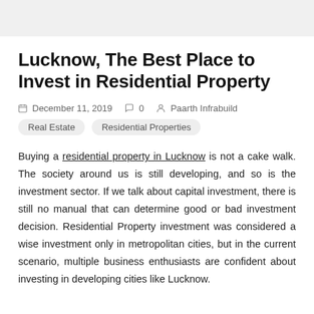Lucknow, The Best Place to Invest in Residential Property
December 11, 2019   0   Paarth Infrabuild
Real Estate   Residential Properties
Buying a residential property in Lucknow is not a cake walk. The society around us is still developing, and so is the investment sector. If we talk about capital investment, there is still no manual that can determine good or bad investment decision. Residential Property investment was considered a wise investment only in metropolitan cities, but in the current scenario, multiple business enthusiasts are confident about investing in developing cities like Lucknow.